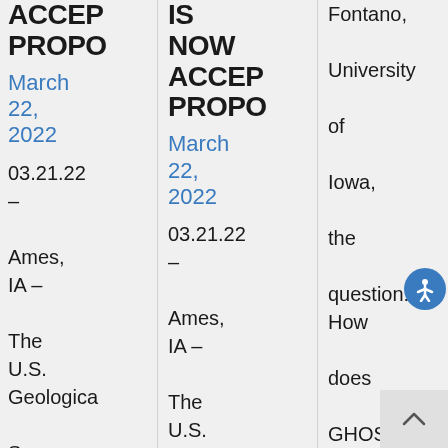ACCEP PROPO
March 22, 2022
03.21.22 – Ames, IA – The U.S. Geological Survey, in cooperation with
IS NOW ACCEP PROPO
March 22, 2022
03.21.22 – Ames, IA – The U.S. Geological Survey, in
Fontano, University of Iowa, the question: How does GHOST impact Iowans' daily lives?
Read